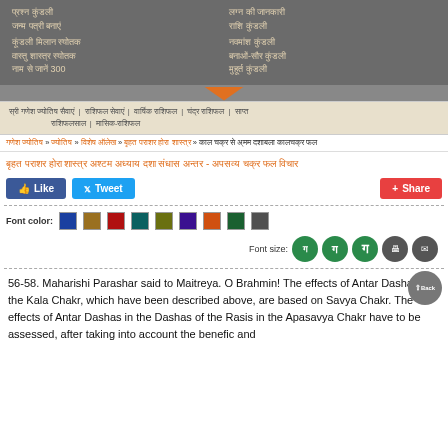[Figure (screenshot): Website header banner with Hindi text in two columns on grey background, navigation bar with Hindi links, breadcrumb trail, page title in Hindi/orange, social share buttons (Like, Tweet, Share), font color swatches, font size controls, and beginning of article text about Maharishi Parashar.]
56-58. Maharishi Parashar said to Maitreya. O Brahmin! The effects of Antar Dashas in the Kala Chakr, which have been described above, are based on Savya Chakr. The effects of Antar Dashas in the Dashas of the Rasis in the Apasavya Chakr have to be assessed, after taking into account the benefic and